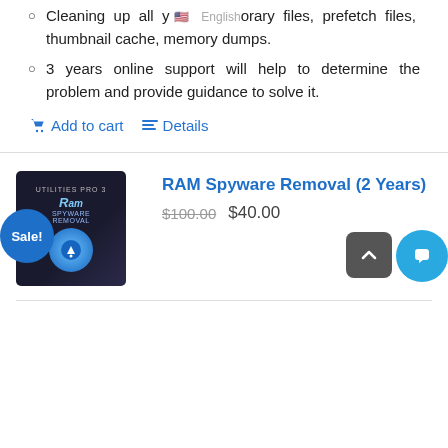Cleaning up all your temporary files, prefetch files, thumbnail cache, memory dumps.
3 years online support will help to determine the problem and provide guidance to solve it.
Add to cart   Details
[Figure (photo): RAM Spyware Removal software box with blue circular icon and Sale badge]
RAM Spyware Removal (2 Years)
$100.00  $40.00